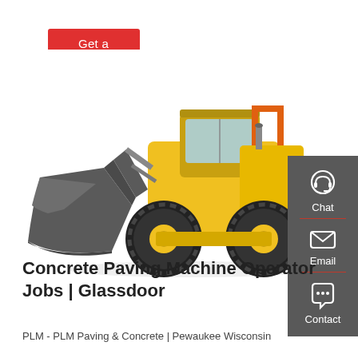Get a quote
[Figure (photo): Yellow front loader / wheel loader construction machine with large bucket, on white background]
[Figure (infographic): Dark gray sidebar with Chat (headset icon), Email (envelope icon), and Contact (speech bubble icon) options, separated by red dividers]
Concrete Paving Machine Operator Jobs | Glassdoor
PLM - PLM Paving & Concrete | Pewaukee Wisconsin